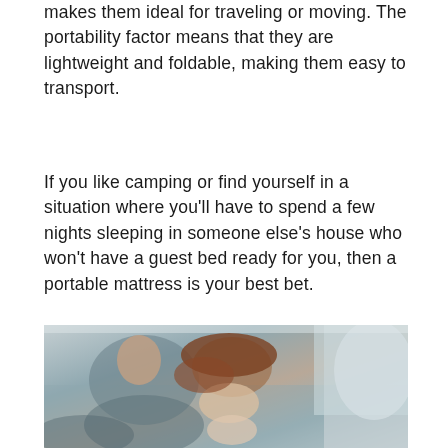makes them ideal for traveling or moving. The portability factor means that they are lightweight and foldable, making them easy to transport.
If you like camping or find yourself in a situation where you'll have to spend a few nights sleeping in someone else's house who won't have a guest bed ready for you, then a portable mattress is your best bet.
[Figure (photo): A family lying on a mattress with blue-grey bedding. A young child leans over toward a woman with reddish hair. Another person with a baby is also visible, all appearing to be resting or playing in bed.]